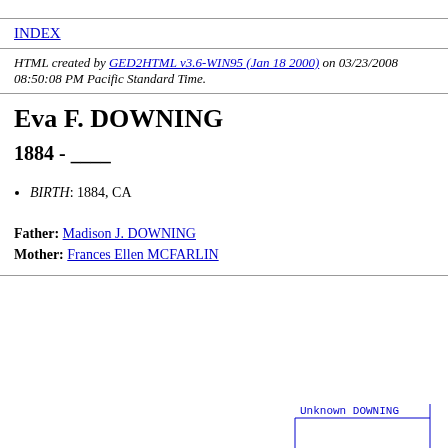INDEX
HTML created by GED2HTML v3.6-WIN95 (Jan 18 2000) on 03/23/2008 08:50:08 PM Pacific Standard Time.
Eva F. DOWNING
1884 - ____
BIRTH: 1884, CA
Father: Madison J. DOWNING
Mother: Frances Ellen MCFARLIN
[Figure (other): Partial genealogy tree diagram showing Unknown DOWNING with connecting lines]